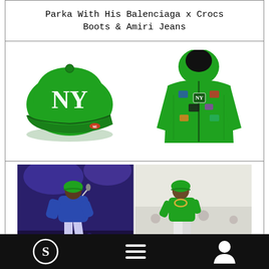Parka With His Balenciaga x Crocs Boots & Amiri Jeans
[Figure (photo): Green NY Yankees fitted cap (New Era) and green parka jacket with patches on white background]
[Figure (photo): Two photos side by side: left - performer on stage wearing green parka with purple lighting; right - man wearing green NY cap, green t-shirt, white pants and green Balenciaga x Crocs boots]
Navigation footer bar with Sole Collector logo icon, hamburger menu icon, and user profile icon on black background